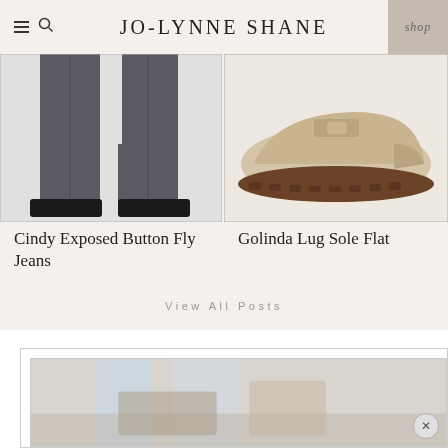JO-LYNNE SHANE
[Figure (photo): Bottom half of dark gray/charcoal jeans showing the legs and black shoes/boots on a white background]
[Figure (photo): Beige/tan penny loafer with lug sole on a white background]
Cindy Exposed Button Fly Jeans
Golinda Lug Sole Flat
View All Posts
[Figure (screenshot): Bottom portion of a popup/ad box with an interior image visible showing a room or lifestyle scene]